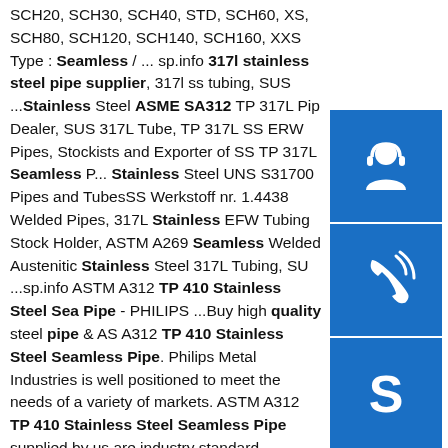SCH20, SCH30, SCH40, STD, SCH60, XS, SCH80, SCH120, SCH140, SCH160, XXS Type : Seamless / ... sp.info 317l stainless steel pipe supplier, 317l ss tubing, SUS ...Stainless Steel ASME SA312 TP 317L Pip Dealer, SUS 317L Tube, TP 317L SS ERW Pipes, Stockists and Exporter of SS TP 317L Seamless P... Stainless Steel UNS S31700 Pipes and TubesSS Werkstoff nr. 1.4438 Welded Pipes, 317L Stainless EFW Tubing Stock Holder, ASTM A269 Seamless Welded Austenitic Stainless Steel 317L Tubing, SU ...sp.info ASTM A312 TP 410 Stainless Steel Sea Pipe - PHILIPS ...Buy high quality steel pipe & AS A312 TP 410 Stainless Steel Seamless Pipe. Philips Metal Industries is well positioned to meet the needs of a variety of markets. ASTM A312 TP 410 Stainless Steel Seamless Pipe supplied by us are industry standard approved and certified.sp.info stainless steel pipe manufacturers in tamil nadu ...Victor steel supplies a full range of ASTM A312 pipe schedules from Sch 5 thru
[Figure (illustration): Blue square icon with white headset/customer service symbol]
[Figure (illustration): Blue square icon with white telephone/call symbol]
[Figure (illustration): Blue square icon with white Skype logo symbol]